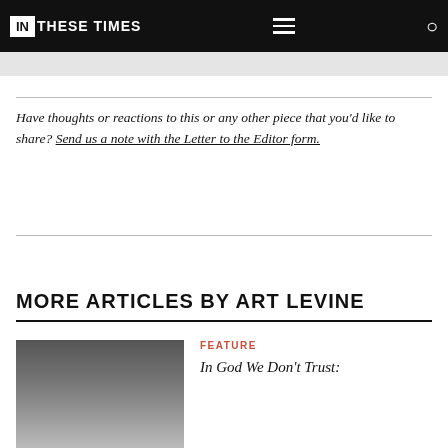IN THESE TIMES
Have thoughts or reactions to this or any other piece that you'd like to share? Send us a note with the Letter to the Editor form.
MORE ARTICLES BY ART LEVINE
FEATURE
In God We Don't Trust: